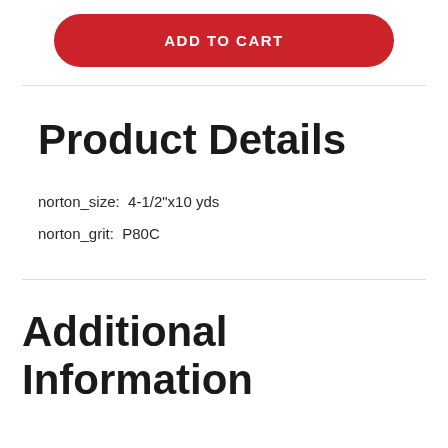[Figure (other): Red rounded Add to Cart button]
Product Details
norton_size:  4-1/2"x10 yds
norton_grit:  P80C
Additional Information